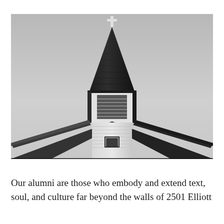[Figure (photo): Black and white photograph taken from ground level looking up at a white church steeple with a cross on top, against a grey overcast sky. The steep triangular spire has dark shingle cladding. Below the spire is a louvered belfry section, and below that the roofline of the church building converges in a V-shape toward the camera.]
Our alumni are those who embody and extend text, soul, and culture far beyond the walls of 2501 Elliott